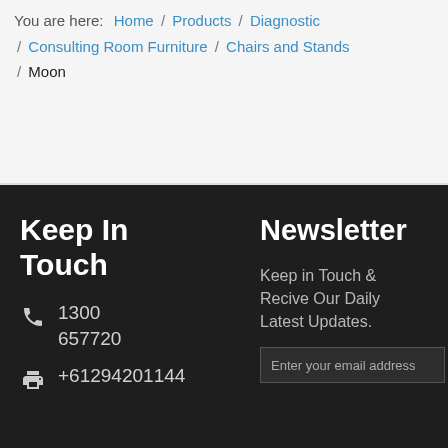You are here: Home / Products / Diagnostic / Consulting Room Furniture / Chairs and Stands / Moon
Keep In Touch
1300 657720
+61294201144
Newsletter
Keep in Touch & Recive Our Daily Latest Updates.
Enter your email address